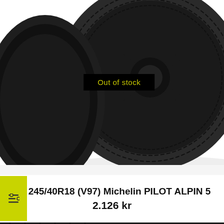[Figure (photo): Close-up photo of a Michelin Pilot Alpin 5 winter tire mounted on a black alloy wheel, viewed from an angle showing the tread pattern. A black badge with yellow text reading 'Out of stock' overlays the center of the image.]
245/40R18 (V97) Michelin PILOT ALPIN 5
2.126 kr
[Figure (photo): Close-up photo of a performance summer tire (possibly Semperit or similar brand) showing the tread pattern with lateral grooves, mounted on a silver alloy wheel.]